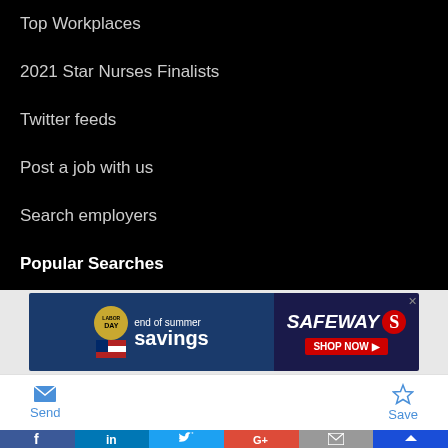Terms of Sale
Top Workplaces
2021 Star Nurses Finalists
Twitter feeds
Post a job with us
Search employers
Popular Searches
Jobs in Alexandria, Virginia
[Figure (screenshot): Safeway Labor Day end of summer savings advertisement banner]
[Figure (screenshot): Toolbar with Send and Save buttons, followed by social media sharing bar with Facebook, LinkedIn, Twitter, Google+, Email, and Kings icons]